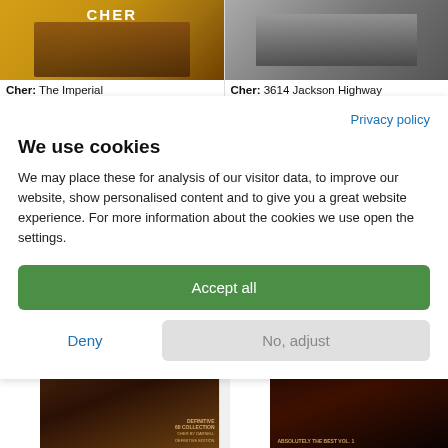[Figure (photo): Album cover for Cher: The Imperial - yellow background with Cher portrait]
Cher: The Imperial
[Figure (photo): Album cover for Cher: 3614 Jackson Highway - black and white group photo]
Cher: 3614 Jackson Highway
Privacy policy
We use cookies
We may place these for analysis of our visitor data, to improve our website, show personalised content and to give you a great website experience. For more information about the cookies we use open the settings.
Accept all
Deny
No, adjust
[Figure (photo): Album cover - Cher Definitive Collection, dark ornate background]
[Figure (photo): Album cover - Absolutely The Best Vol. 1, dark brown portrait]